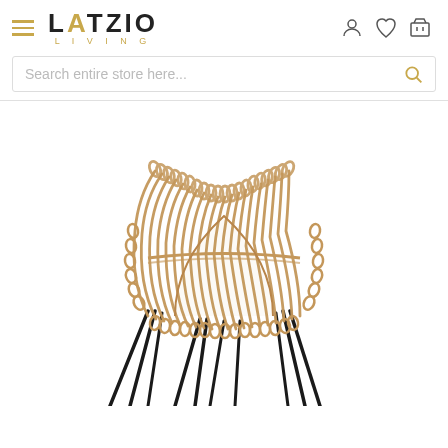LATZIO LIVING — navigation header with hamburger menu, logo, user/wishlist/cart icons
Search entire store here...
[Figure (photo): A rattan/wicker barrel chair with curved looping rattan back and seat, supported by dark metal hairpin legs, photographed on a white background.]